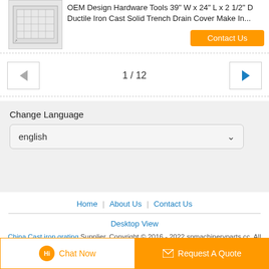[Figure (screenshot): Product thumbnail showing a technical drawing of a trench drain cover]
OEM Design Hardware Tools 39" W x 24" L x 2 1/2" D Ductile Iron Cast Solid Trench Drain Cover Make In...
Contact Us
1 / 12
Change Language
english
Home | About Us | Contact Us
Desktop View
China Cast iron grating Supplier. Copyright © 2016 - 2022 spmachineryparts.cc. All rights reserved. Developed by ECER
Chat Now
Request A Quote